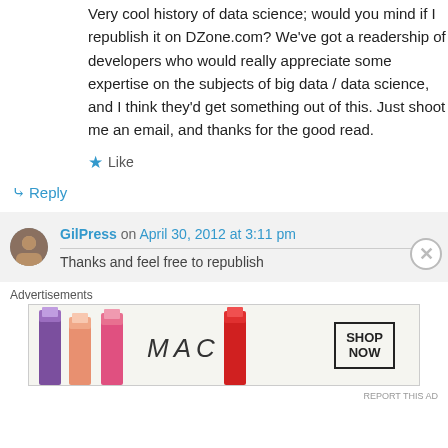Very cool history of data science; would you mind if I republish it on DZone.com? We've got a readership of developers who would really appreciate some expertise on the subjects of big data / data science, and I think they'd get something out of this. Just shoot me an email, and thanks for the good read.
Like
Reply
GilPress on April 30, 2012 at 3:11 pm
Thanks and feel free to republish
Advertisements
[Figure (photo): MAC Cosmetics advertisement banner showing colorful lipsticks with 'MAC' logo and 'SHOP NOW' button]